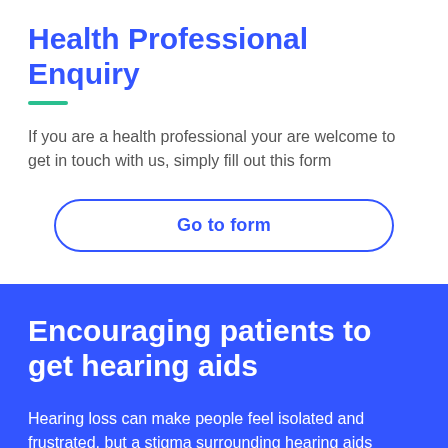Health Professional Enquiry
If you are a health professional your are welcome to get in touch with us, simply fill out this form
[Figure (other): Button with text 'Go to form' with blue rounded border]
Encouraging patients to get hearing aids
Hearing loss can make people feel isolated and frustrated, but a stigma surrounding hearing aids